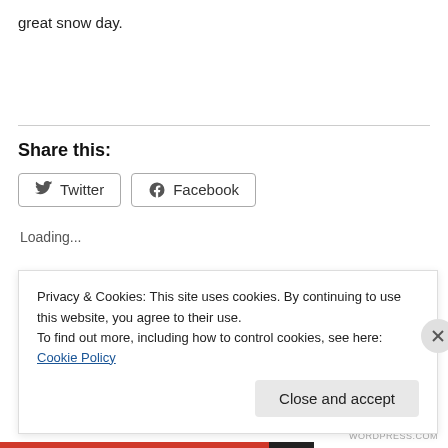great snow day.
Share this:
[Figure (other): Twitter and Facebook share buttons]
Loading...
Privacy & Cookies: This site uses cookies. By continuing to use this website, you agree to their use.
To find out more, including how to control cookies, see here: Cookie Policy
Close and accept